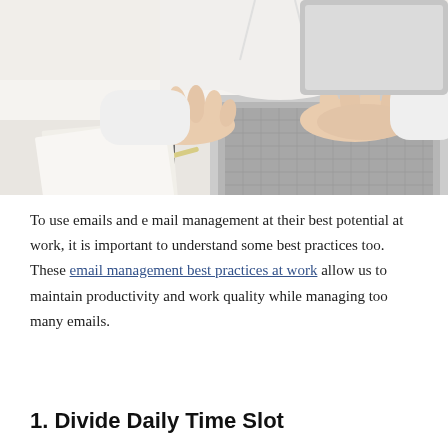[Figure (photo): Person wearing white shirt typing on a laptop keyboard, with a tablet and papers visible on the desk. Close-up of hands on keyboard.]
To use emails and e mail management at their best potential at work, it is important to understand some best practices too. These email management best practices at work allow us to maintain productivity and work quality while managing too many emails.
1. Divide Daily Time Slot